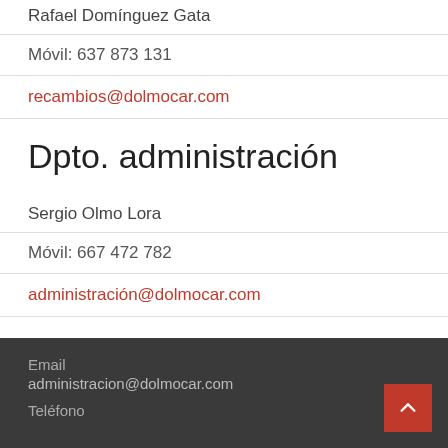Rafael Domínguez Gata
Móvil: 637 873 131
recambios@dolmocar.com
Dpto. administración
Sergio Olmo Lora
Móvil: 667 472 782
administración@dolmocar.com
Email
administracion@dolmocar.com
Teléfono